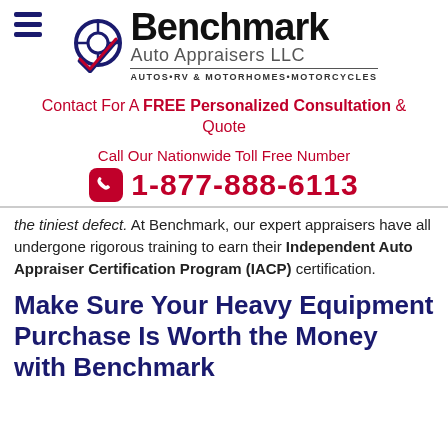[Figure (logo): Benchmark Auto Appraisers LLC logo with wheel icon and checkmark, tagline AUTOS•RV & MOTORHOMES•MOTORCYCLES]
Contact For A FREE Personalized Consultation & Quote
Call Our Nationwide Toll Free Number
1-877-888-6113
the tiniest defect. At Benchmark, our expert appraisers have all undergone rigorous training to earn their Independent Auto Appraiser Certification Program (IACP) certification.
Make Sure Your Heavy Equipment Purchase Is Worth the Money with Benchmark